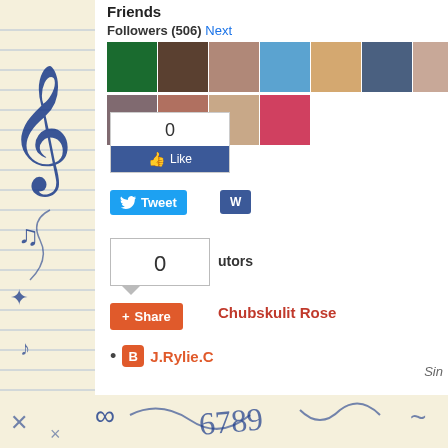Friends
Followers (506) Next
[Figure (screenshot): Grid of follower profile avatars - row 1 with 9 photos, row 2 with 4 photos]
[Figure (screenshot): Facebook Like button widget showing count 0]
[Figure (screenshot): Twitter Tweet button]
[Figure (screenshot): Comment count widget showing 0 with speech bubble tail]
utors
[Figure (screenshot): Google Plus Share button]
Chubskulit Rose
J.Rylie.C
Sin